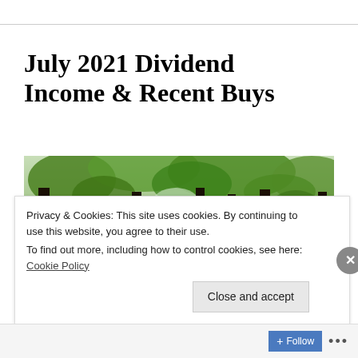July 2021 Dividend Income & Recent Buys
[Figure (photo): Photograph looking up through tall forest trees with green foliage canopy against a bright sky]
Privacy & Cookies: This site uses cookies. By continuing to use this website, you agree to their use.
To find out more, including how to control cookies, see here: Cookie Policy